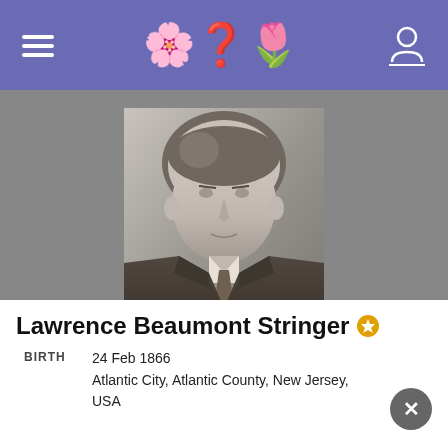Header navigation bar with hamburger menu, logo with question mark, and user icon
[Figure (photo): Black and white portrait photograph of Lawrence Beaumont Stringer, a man in a suit with a tie, early 20th century style]
Photo added by Bill McKern
Lawrence Beaumont Stringer
BIRTH   24 Feb 1866
Atlantic City, Atlantic County, New Jersey, USA